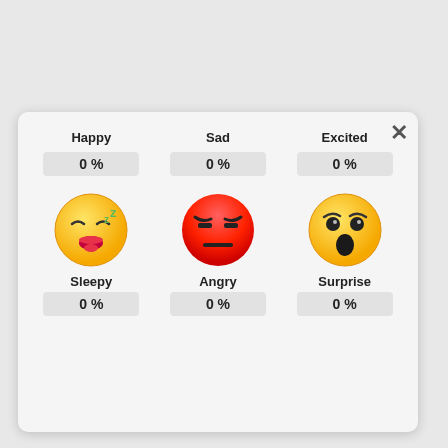[Figure (screenshot): Emotion recognition UI panel showing 6 emotions: Happy, Sad, Excited (top row), Sleepy, Angry, Surprise (bottom row), each with 0% reading and an emoji icon for the bottom row.]
Happy 0 %
Sad 0 %
Excited 0 %
Sleepy 0 %
Angry 0 %
Surprise 0 %